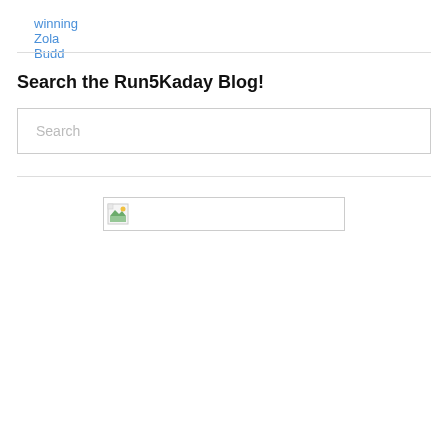winning Zola Budd
Search the Run5Kaday Blog!
[Figure (other): Broken image placeholder with small icon inside a rectangular border]